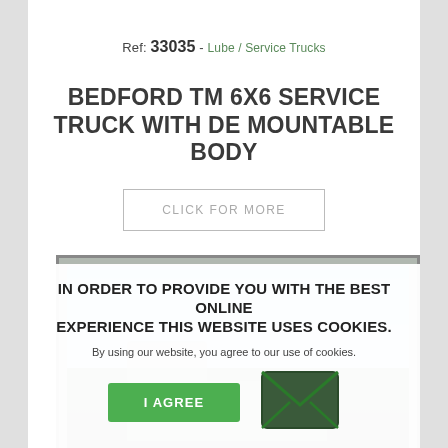Ref: 33035 - Lube / Service Trucks
BEDFORD TM 6X6 SERVICE TRUCK WITH DE MOUNTABLE BODY
CLICK FOR MORE
[Figure (photo): Partial photo of a Bedford TM 6x6 service truck with demountable body, showing the upper portion of the truck against a sky background]
IN ORDER TO PROVIDE YOU WITH THE BEST ONLINE EXPERIENCE THIS WEBSITE USES COOKIES.
By using our website, you agree to our use of cookies.
I AGREE